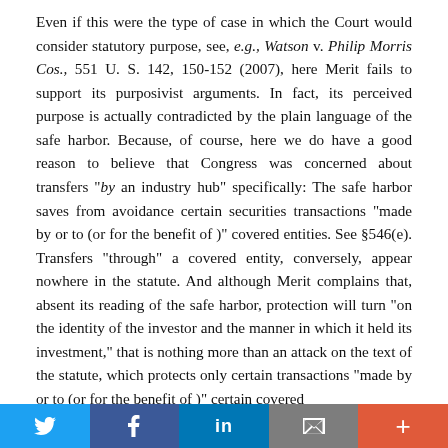Even if this were the type of case in which the Court would consider statutory purpose, see, e.g., Watson v. Philip Morris Cos., 551 U. S. 142, 150-152 (2007), here Merit fails to support its purposivist arguments. In fact, its perceived purpose is actually contradicted by the plain language of the safe harbor. Because, of course, here we do have a good reason to believe that Congress was concerned about transfers "by an industry hub" specifically: The safe harbor saves from avoidance certain securities transactions "made by or to (or for the benefit of )" covered entities. See §546(e). Transfers "through" a covered entity, conversely, appear nowhere in the statute. And although Merit complains that, absent its reading of the safe harbor, protection will turn "on the identity of the investor and the manner in which it held its investment," that is nothing more than an attack on the text of the statute, which protects only certain transactions "made by or to (or for the benefit of)" certain covered
[Figure (other): Social sharing bar with Twitter, Facebook, LinkedIn, email, and plus buttons]